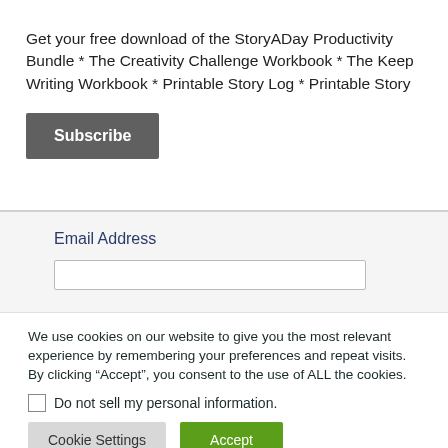Get your free download of the StoryADay Productivity Bundle * The Creativity Challenge Workbook * The Keep Writing Workbook * Printable Story Log * Printable Story
Subscribe
Email Address
We use cookies on our website to give you the most relevant experience by remembering your preferences and repeat visits. By clicking “Accept”, you consent to the use of ALL the cookies.
Do not sell my personal information.
Cookie Settings
Accept